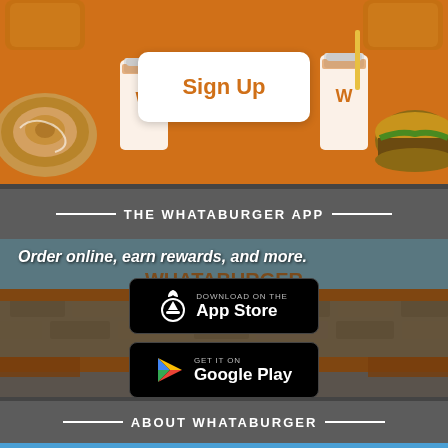[Figure (screenshot): Whataburger website top section with orange background showing food items (cinnamon rolls, cups, burger) and a white Sign Up button in the center.]
Sign Up
THE WHATABURGER APP
[Figure (photo): Whataburger restaurant exterior with stone facade, orange roof trim, sky background, and Whataburger signage. Overlaid with app download text and buttons.]
Order online, earn rewards, and more.
[Figure (screenshot): Download on the App Store button (black, rounded)]
[Figure (screenshot): GET IT ON Google Play button (black, rounded)]
ABOUT WHATABURGER